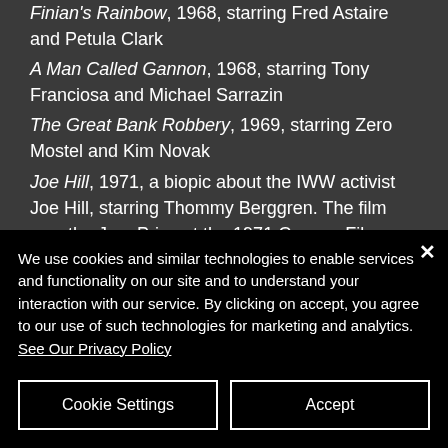Finian's Rainbow, 1968, starring Fred Astaire and Petula Clark
A Man Called Gannon, 1968, starring Tony Franciosa and Michael Sarrazin
The Great Bank Robbery, 1969, starring Zero Mostel and Kim Novak
Joe Hill, 1971, a biopic about the IWW activist Joe Hill, starring Thommy Berggren. The film won the Jury Prize at the 1971 Cannes Film Festival.
The Great Northfield Minnesota Raid,
We use cookies and similar technologies to enable services and functionality on our site and to understand your interaction with our service. By clicking on accept, you agree to our use of such technologies for marketing and analytics. See Our Privacy Policy